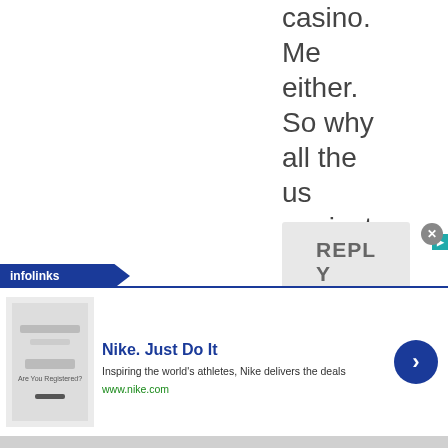casino. Me either. So why all the us against them rhetoric?
REPLY
[Figure (screenshot): Infolinks advertisement banner for Nike. Just Do It — showing a thumbnail image, Nike ad title, description text 'Inspiring the world's athletes, Nike delivers the deals', and url www.nike.com, with a blue circular arrow button and close X button.]